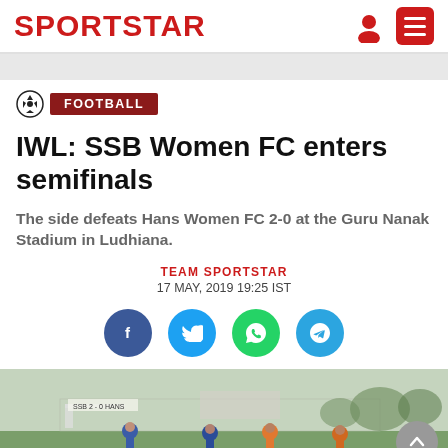SPORTSTAR
FOOTBALL
IWL: SSB Women FC enters semifinals
The side defeats Hans Women FC 2-0 at the Guru Nanak Stadium in Ludhiana.
TEAM SPORTSTAR
17 MAY, 2019 19:25 IST
[Figure (photo): Football match photo showing women players on a football ground, some in blue and some in orange jerseys, with stadium fence and trees visible in background.]